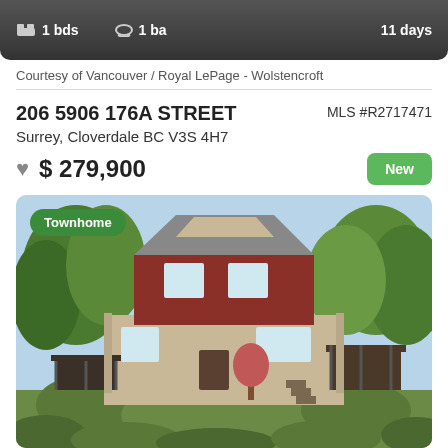1 bds  1 ba  11 days
Courtesy of Vancouver / Royal LePage - Wolstencroft
206 5906 176A STREET
Surrey, Cloverdale BC V3S 4H7
MLS #R2717471
$ 279,900
New
[Figure (photo): Exterior photo of a two-story townhome with red upper siding, beige lower siding, peaked roof, decks on both sides, surrounded by green trees and shrubs. Badge reads 'Townhome'.]